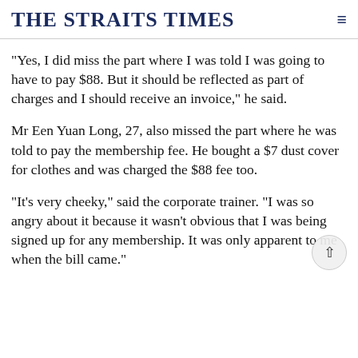THE STRAITS TIMES
"Yes, I did miss the part where I was told I was going to have to pay $88. But it should be reflected as part of charges and I should receive an invoice," he said.
Mr Een Yuan Long, 27, also missed the part where he was told to pay the membership fee. He bought a $7 dust cover for clothes and was charged the $88 fee too.
"It's very cheeky," said the corporate trainer. "I was so angry about it because it wasn't obvious that I was being signed up for any membership. It was only apparent to me when the bill came."